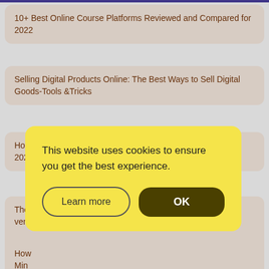10+ Best Online Course Platforms Reviewed and Compared for 2022
Selling Digital Products Online: The Best Ways to Sell Digital Goods-Tools &Tricks
How to Choose the Best Ecommerce Platform for SEO (Aug 2022)
The [obscured] lti-ven[dor...]
How [obscured] Min[imum...]
Sho[pify...] rce Platform? Shopify Pros and Cons
This website uses cookies to ensure you get the best experience.